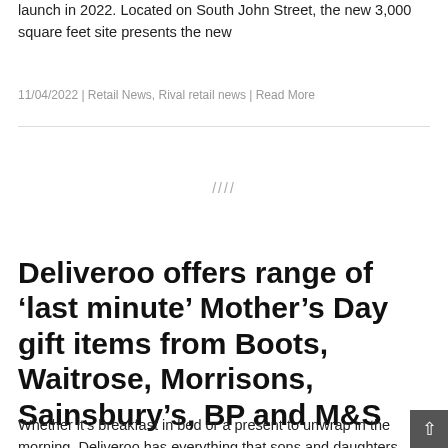launch in 2022. Located on South John Street, the new 3,000 square feet site presents the new
11/04/2022 | Retail News, Rival retail news | Read More
[Figure (other): Advertisement placeholder area with diagonal slash marks]
Deliveroo offers range of ‘last minute’ Mother’s Day gift items from Boots, Waitrose, Morrisons, Sainsbury’s, BP and M&S
Whether it’s breakfast in bed or a present to unwrap in the morning, Deliveroo has everything that sons and daughters need to treat their mum on Mothering